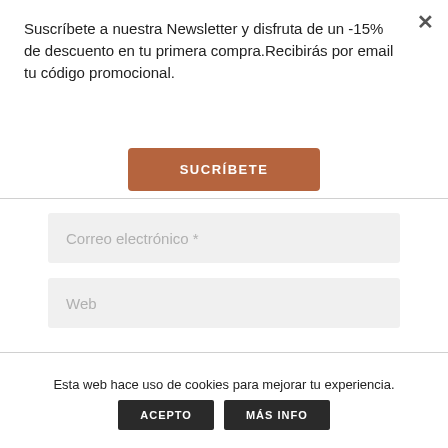Suscríbete a nuestra Newsletter y disfruta de un -15% de descuento en tu primera compra.Recibirás por email tu código promocional.
SUCRÍBETE
Correo electrónico *
Web
Esta web hace uso de cookies para mejorar tu experiencia.
ACEPTO
MÁS INFO